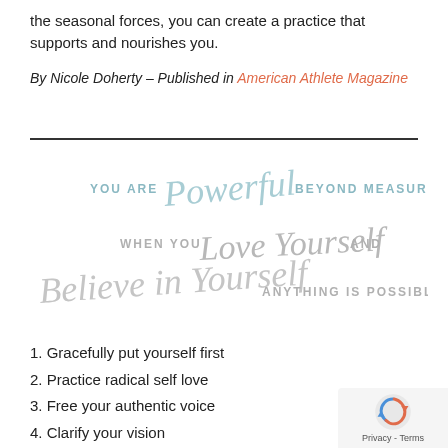the seasonal forces, you can create a practice that supports and nourishes you.
By Nicole Doherty – Published in American Athlete Magazine
[Figure (illustration): Motivational quote image: 'YOU ARE Powerful BEYOND MEASURE AND WHEN YOU Love Yourself AND Believe in Yourself ANYTHING IS POSSIBLE.' in mixed script and sans-serif lettering in teal, gray, and light colors.]
Gracefully put yourself first
Practice radical self love
Free your authentic voice
Clarify your vision